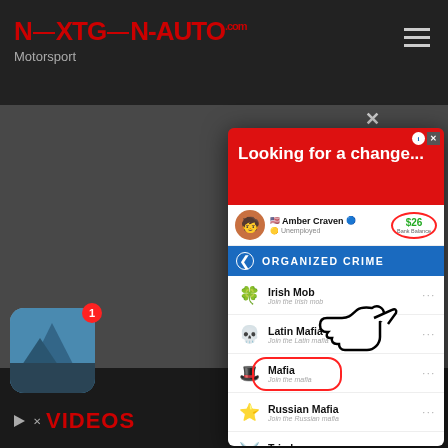[Figure (screenshot): NextGen-Auto.com Motorsport website screenshot showing a BitLife game advertisement popup with organized crime faction selection menu. The popup shows user 'Amber Craven' who is Unemployed with $26 Bank Balance. Options listed: Irish Mob, Latin Mafia, Mafia (circled with red), Russian Mafia, Triad, Yakuza. A pointing hand emoji points to Mafia. BitLife logo shown at the bottom of the popup.]